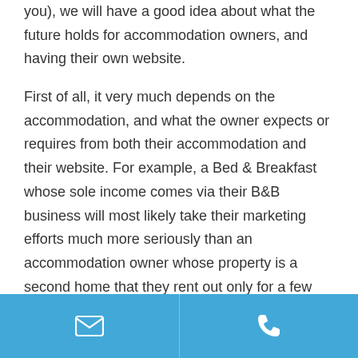you), we will have a good idea about what the future holds for accommodation owners, and having their own website.
First of all, it very much depends on the accommodation, and what the owner expects or requires from both their accommodation and their website. For example, a Bed & Breakfast whose sole income comes via their B&B business will most likely take their marketing efforts much more seriously than an accommodation owner whose property is a second home that they rent out only for a few weeks of the year.
The majority of accommodation owners who are keen to get bookings will most likely be on most or all of the main booking sites, as well as have their own website...